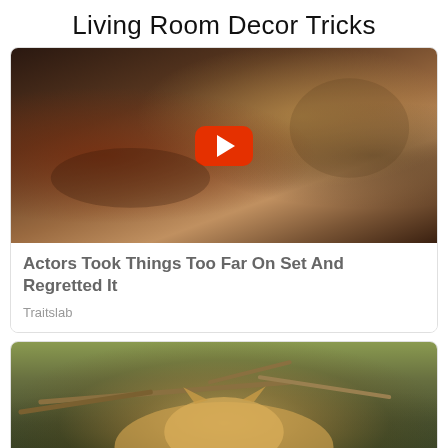Living Room Decor Tricks
[Figure (screenshot): Video thumbnail showing two people in a dramatic scene, with a red YouTube play button overlay]
Actors Took Things Too Far On Set And Regretted It
Traitslab
[Figure (photo): A large fluffy orange/cream cat sitting outdoors under tree branches, with a red CLOSE button overlay at the bottom]